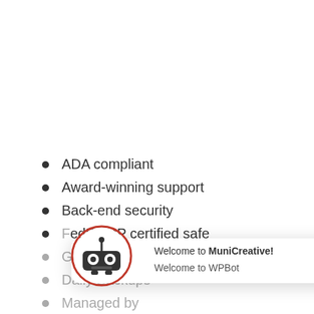ADA compliant
Award-winning support
Back-end security
FedRAMP certified safe
GT blog about North Carolina
Daily Backups
Managed by
Free upgrades for features and plugins
Free security upgrades
Mobile friendly design
Site-wide search
[Figure (screenshot): WPBot chatbot popup overlay with robot icon, showing 'Welcome to MuniCreative!' and 'Welcome to WPBot' messages, plus a close X button and a robot avatar on the right, with a red scroll-to-top button.]